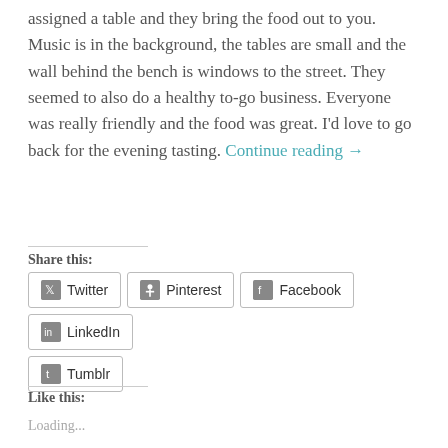assigned a table and they bring the food out to you. Music is in the background, the tables are small and the wall behind the bench is windows to the street. They seemed to also do a healthy to-go business. Everyone was really friendly and the food was great. I'd love to go back for the evening tasting. Continue reading →
Share this:
Twitter Pinterest Facebook LinkedIn Tumblr
Like this:
Loading...